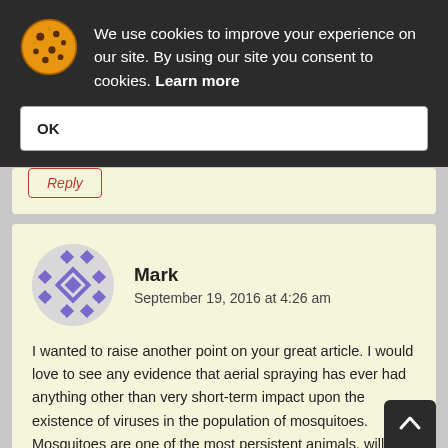We use cookies to improve your experience on our site. By using our site you consent to cookies. Learn more
OK
Reply
Mark
September 19, 2016 at 4:26 am
I wanted to raise another point on your great article. I would love to see any evidence that aerial spraying has ever had anything other than very short-term impact upon the existence of viruses in the population of mosquitoes. Mosquitoes are one of the most persistent animals, will take very high levels of pollution, and breed in a few days. In my view, interventions need to be science-led, and if we do not have scientific evidence